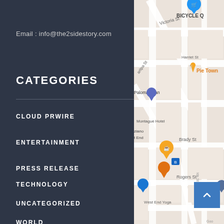Email : info@the2sidestory.com
CATEGORIES
CLOUD PRWIRE
ENTERTAINMENT
PRESS RELEASE
SPORTS
TECHNOLOGY
UNCATEGORIZED
WORLD
RECENT POSTS
VIRTUAL REALITY BOOTH VIRTUAL ESCA... BETTER
[Figure (map): Google Maps screenshot showing streets including Victoria St, Harriet St, Brady St, Rogers St, West End Yoga area with map pins for Pie Town, Paloma Roan, BICYCLE Q and other locations]